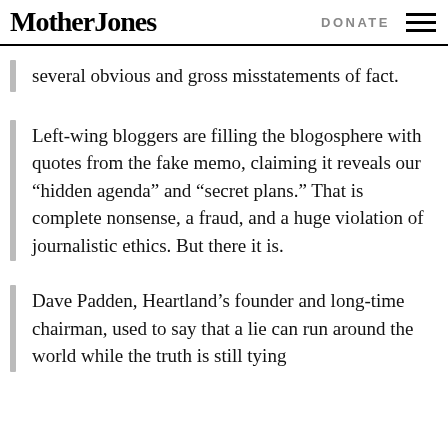Mother Jones | DONATE
several obvious and gross misstatements of fact.
Left-wing bloggers are filling the blogosphere with quotes from the fake memo, claiming it reveals our “hidden agenda” and “secret plans.” That is complete nonsense, a fraud, and a huge violation of journalistic ethics. But there it is.
Dave Padden, Heartland’s founder and long-time chairman, used to say that a lie can run around the world while the truth is still tying